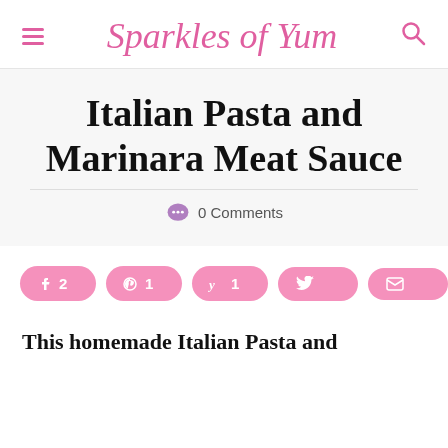Sparkles of Yum
Italian Pasta and Marinara Meat Sauce
0 Comments
[Figure (infographic): Social share buttons row: Facebook (2), Pinterest (1), Yummly (1), Twitter, Email, and 455 SHARES total]
This homemade Italian Pasta and